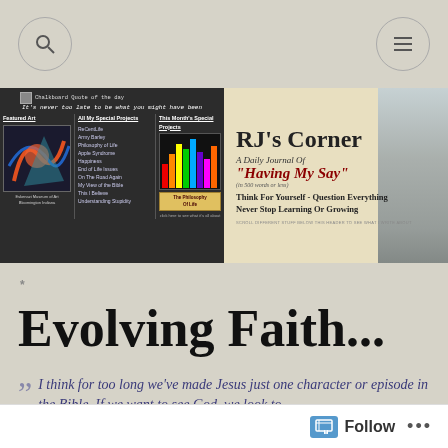[Figure (screenshot): Top navigation bar with search icon (magnifying glass circle) on left and menu icon (hamburger circle) on right, on tan/grey background]
[Figure (screenshot): Blog banner: left half is dark chalkboard with 'Chalkboard Quote of the day: It's never too late to be what you might have been', Featured Art section, All My Special Projects list, This Month's Special Projects. Right half shows 'RJ's Corner - A Daily Journal Of Having My Say - Think For Yourself - Question Everything - Never Stop Learning Or Growing' on aged paper background with person in hat photo.]
Evolving Faith...
I think for too long we've made Jesus just one character or episode in the Bible. If we want to see God, we look to